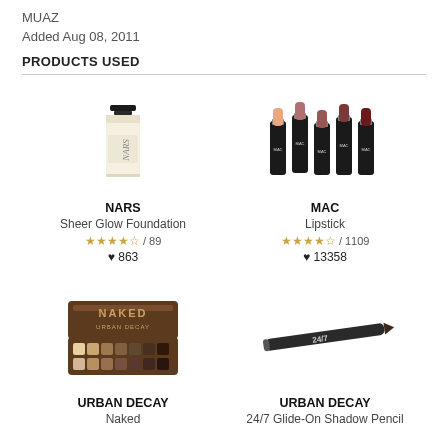MUAZ
Added Aug 08, 2011
PRODUCTS USED
[Figure (photo): NARS Sheer Glow Foundation bottle]
NARS
Sheer Glow Foundation
★★★★☆ / 89
♥ 863
[Figure (photo): MAC Lipstick set of 5 lipsticks]
MAC
Lipstick
★★★★☆ / 1109
♥ 13358
[Figure (photo): Urban Decay Naked eyeshadow palette]
URBAN DECAY
Naked
[Figure (photo): Urban Decay 24/7 Glide-On Shadow Pencil]
URBAN DECAY
24/7 Glide-On Shadow Pencil